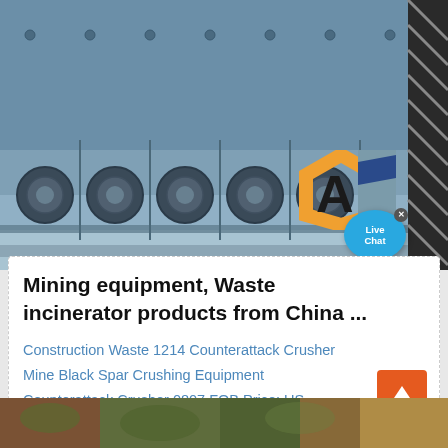[Figure (photo): Close-up photo of industrial mining or crushing machinery with blue-grey metal panels and multiple motor/drive units visible along the bottom. An orange and black 'A' logo watermark is overlaid on the right side, along with a blue 'Live Chat' bubble UI element and a close (x) button.]
Mining equipment, Waste incinerator products from China ...
Construction Waste 1214 Counterattack Crusher Mine Black Spar Crushing Equipment Counterattack Crusher 0807 FOB Price: US...
[Figure (photo): Bottom strip showing a partial photo of outdoor industrial/forestry equipment or machinery in a natural/wooded setting with brown and green tones.]